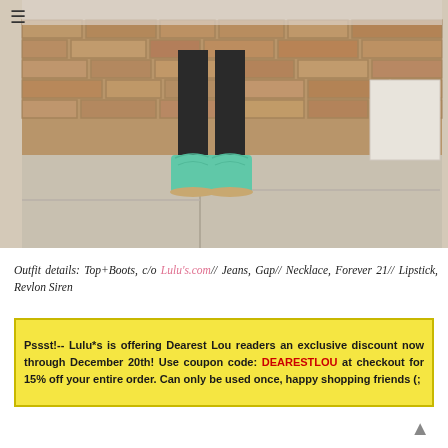[Figure (photo): Photo of person wearing mint/turquoise cowboy boots with black jeans, standing on a concrete patio in front of a brick wall]
Outfit details: Top+Boots, c/o Lulu's.com// Jeans, Gap// Necklace, Forever 21// Lipstick, Revlon Siren
Pssst!-- Lulu*s is offering Dearest Lou readers an exclusive discount now through December 20th! Use coupon code: DEARESTLOU at checkout for 15% off your entire order. Can only be used once, happy shopping friends (;